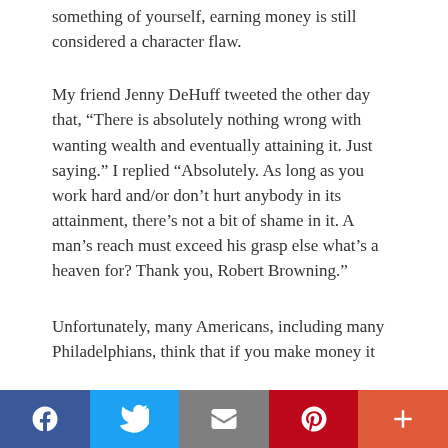something of yourself, earning money is still considered a character flaw.
My friend Jenny DeHuff tweeted the other day that, “There is absolutely nothing wrong with wanting wealth and eventually attaining it. Just saying.” I replied “Absolutely. As long as you work hard and/or don’t hurt anybody in its attainment, there’s not a bit of shame in it. A man’s reach must exceed his grasp else what’s a heaven for? Thank you, Robert Browning.”
Unfortunately, many Americans, including many Philadelphians, think that if you make money it
[Figure (infographic): Social media sharing bar with five buttons: Facebook (dark blue), Twitter (light blue), Email (gray), Pinterest (red), More (orange-red)]